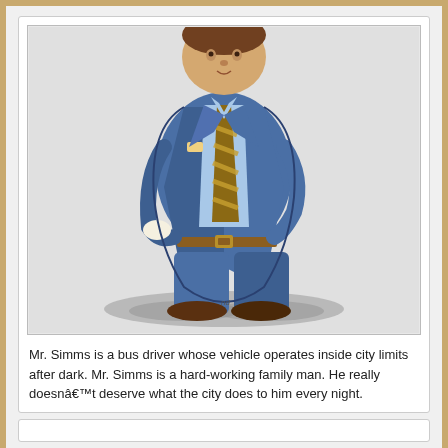[Figure (illustration): Cartoon illustration of a heavyset man wearing a blue suit, light blue shirt, striped brown and gold tie, brown belt, and brown shoes. The figure casts a shadow beneath his feet on a light gray background.]
Mr. Simms is a bus driver whose vehicle operates inside city limits after dark. Mr. Simms is a hard-working family man. He really doesnât deserve what the city does to him every night.